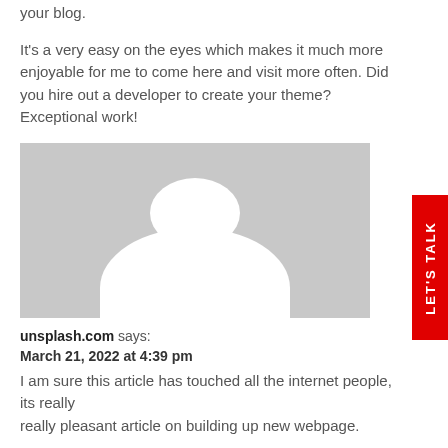your blog.
It's a very easy on the eyes which makes it much more enjoyable for me to come here and visit more often. Did you hire out a developer to create your theme? Exceptional work!
[Figure (illustration): Default avatar placeholder image — grey background with white silhouette of a person (head and shoulders)]
unsplash.com says:
March 21, 2022 at 4:39 pm
I am sure this article has touched all the internet people, its really really pleasant article on building up new webpage.
[Figure (illustration): Default avatar placeholder image — grey background with white silhouette of a person (head and shoulders), partially visible]